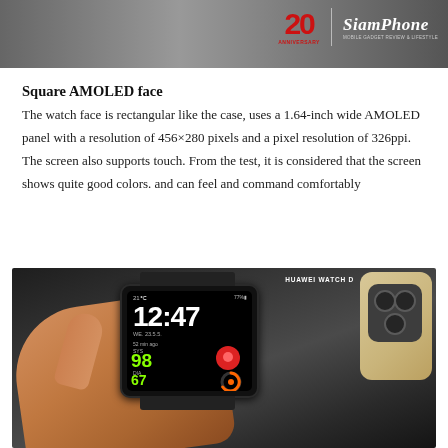[Figure (photo): Header banner with SiamPhone 20th Anniversary logo on a dark background]
Square AMOLED face
The watch face is rectangular like the case, uses a 1.64-inch wide AMOLED panel with a resolution of 456×280 pixels and a pixel resolution of 326ppi. The screen also supports touch. From the test, it is considered that the screen shows quite good colors. and can feel and command comfortably
[Figure (photo): Photo of a hand holding a Huawei Watch D smartwatch showing time 12:47 with health metrics on AMOLED screen, with a gold iPhone in the background]